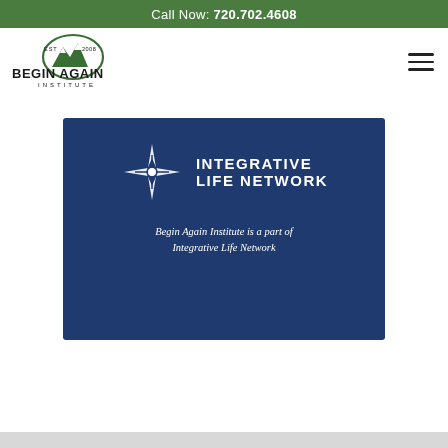Call Now: 720.702.4608
[Figure (logo): Begin Again Institute logo with mountain graphic, EST 2008, green and black color scheme]
[Figure (logo): Integrative Life Network banner with snowflake/star logo on dark navy background, text: Begin Again Institute is a part of Integrative Life Network]